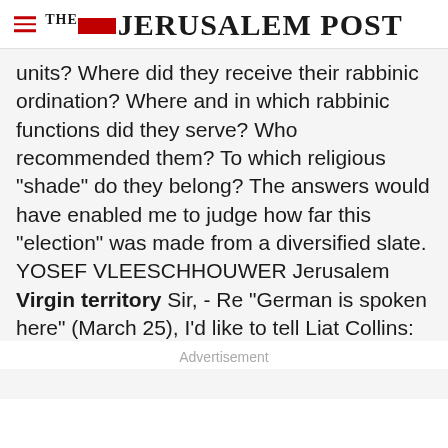THE JERUSALEM POST
units? Where did they receive their rabbinic ordination? Where and in which rabbinic functions did they serve? Who recommended them? To which religious "shade" do they belong? The answers would have enabled me to judge how far this "election" was made from a diversified slate. YOSEF VLEESCHHOUWER Jerusalem Virgin territory Sir, - Re "German is spoken here" (March 25), I'd like to tell Liat Collins: Don't judge a book by its cover, or a
Advertisement